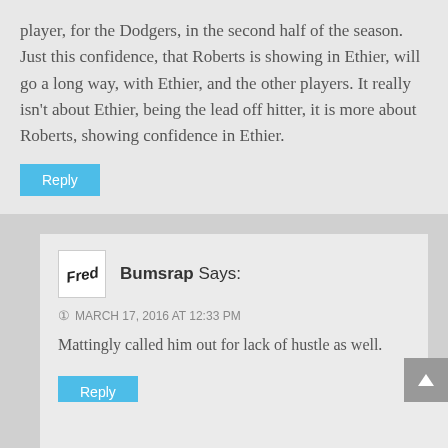player, for the Dodgers, in the second half of the season. Just this confidence, that Roberts is showing in Ethier, will go a long way, with Ethier, and the other players. It really isn’t about Ethier, being the lead off hitter, it is more about Roberts, showing confidence in Ethier.
Reply
Bumsrap Says:
MARCH 17, 2016 AT 12:33 PM
Mattingly called him out for lack of hustle as well.
Reply